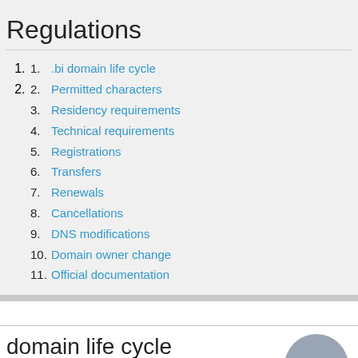Regulations
.bi domain life cycle
Permitted characters
Residency requirements
Technical requirements
Registrations
Transfers
Renewals
Cancellations
DNS modifications
Domain owner change
Official documentation
domain life cycle
Domain registration ... Expiration date ...